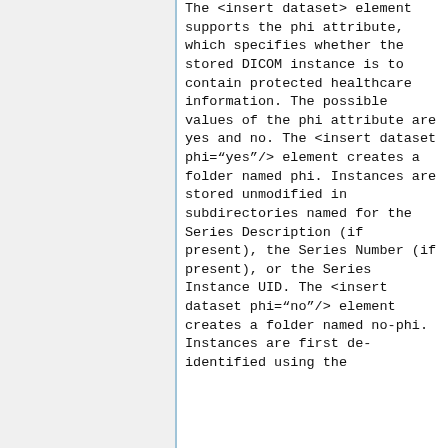The <insert dataset> element supports the phi attribute, which specifies whether the stored DICOM instance is to contain protected healthcare information. The possible values of the phi attribute are yes and no. The <insert dataset phi="yes"/> element creates a folder named phi. Instances are stored unmodified in subdirectories named for the Series Description (if present), the Series Number (if present), or the Series Instance UID. The <insert dataset phi="no"/> element creates a folder named no-phi. Instances are first de-identified using the